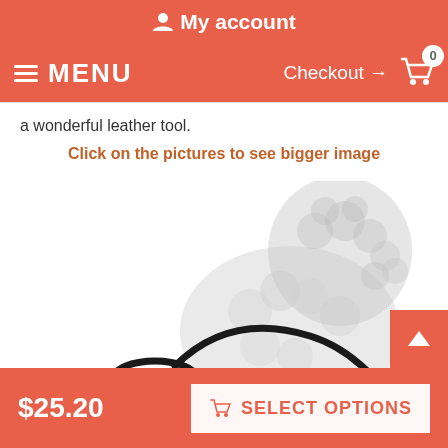My account
MENU  Checkout → 0
a wonderful leather tool.
Click on the pictures to see bigger image
[Figure (photo): A black leather dog leash with brass hardware shown in front of a faded silhouette of a curly-haired dog (poodle or doodle type)]
$25.20
SELECT OPTIONS